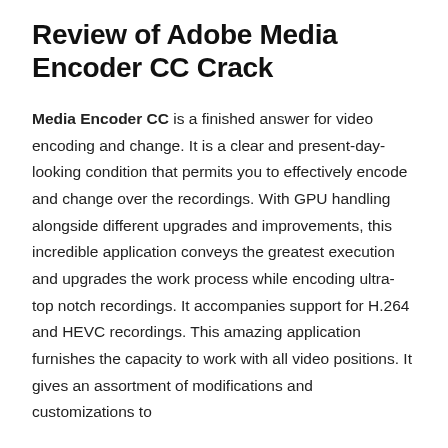Review of Adobe Media Encoder CC Crack
Media Encoder CC is a finished answer for video encoding and change. It is a clear and present-day-looking condition that permits you to effectively encode and change over the recordings. With GPU handling alongside different upgrades and improvements, this incredible application conveys the greatest execution and upgrades the work process while encoding ultra-top notch recordings. It accompanies support for H.264 and HEVC recordings. This amazing application furnishes the capacity to work with all video positions. It gives an assortment of modifications and customizations to